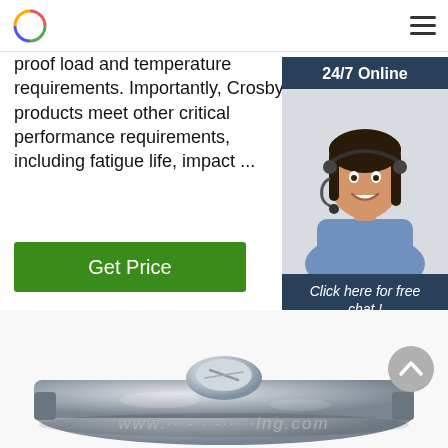Logo and navigation menu
proof load and temperature requirements. Importantly, Crosby products meet other critical performance requirements, including fatigue life, impact ...
Get Price
[Figure (photo): Customer service representative smiling with headset, with '24/7 Online' header and 'Click here for free chat!' and 'QUOTATION' button overlay]
[Figure (photo): Close-up photo of a metallic wire rope clip / u-bolt clamp hardware component, silver/zinc plated finish, with watermark text]